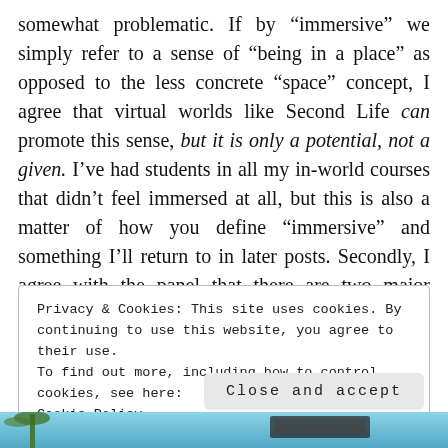somewhat problematic. If by “immersive” we simply refer to a sense of “being in a place” as opposed to the less concrete “space” concept, I agree that virtual worlds like Second Life can promote this sense, but it is only a potential, not a given. I’ve had students in all my in-world courses that didn’t feel immersed at all, but this is also a matter of how you define “immersive” and something I’ll return to in later posts. Secondly, I agree with the panel that there are two major strategies for the technology/media adoption namely “recycling” and “genuine leveraging the new affordances” – two
Privacy & Cookies: This site uses cookies. By continuing to use this website, you agree to their use.
To find out more, including how to control cookies, see here: Cookie Policy
Close and accept
[Figure (photo): A partial photograph visible at the bottom of the page, appearing to show an outdoor scene with blue sky and possibly trees or palm trees.]